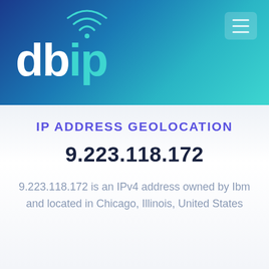dbip logo with wifi arcs and hamburger menu
IP ADDRESS GEOLOCATION
9.223.118.172
9.223.118.172 is an IPv4 address owned by Ibm and located in Chicago, Illinois, United States